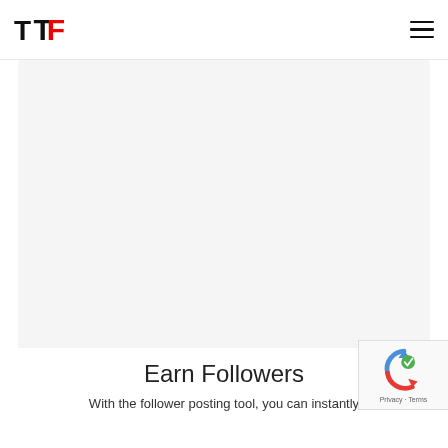TF logo and hamburger menu navigation bar
[Figure (other): Large light gray/white content area, appears to be an embedded media or blank image placeholder]
Earn Followers
With the follower posting tool, you can instantly
[Figure (other): reCAPTCHA badge with Google reCAPTCHA icon and Privacy - Terms text]